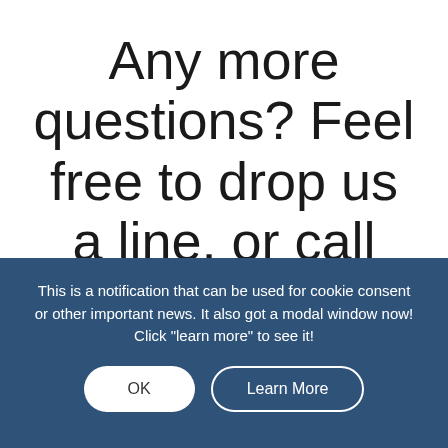Any more questions? Feel free to drop us a line, or call 615.338.5130!
Communication via this website or through email does not establish an attorney-client relationship, is
This is a notification that can be used for cookie consent or other important news. It also got a modal window now! Click "learn more" to see it!